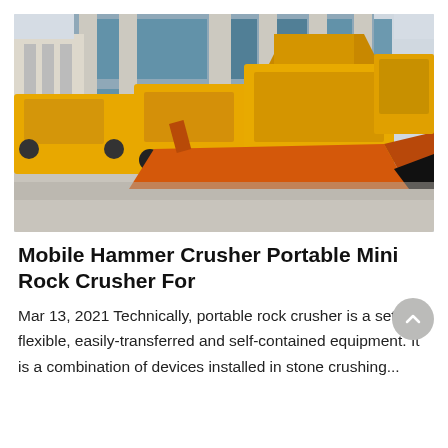[Figure (photo): Outdoor scene of yellow mobile rock crushing and construction machinery parked in front of a modern building with large blue glass windows. In the foreground is a large orange and black excavator bucket/blade attachment.]
Mobile Hammer Crusher Portable Mini Rock Crusher For
Mar 13, 2021 Technically, portable rock crusher is a set of flexible, easily-transferred and self-contained equipment. It is a combination of devices installed in stone crushing...